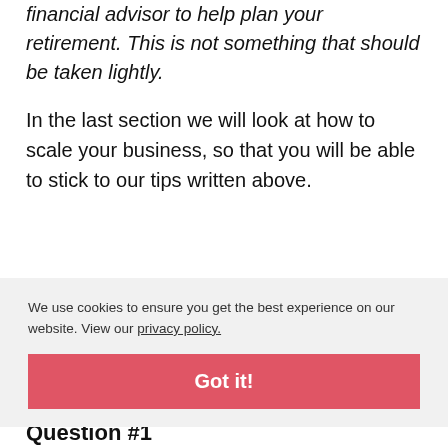financial advisor to help plan your retirement. This is not something that should be taken lightly.
In the last section we will look at how to scale your business, so that you will be able to stick to our tips written above.
We use cookies to ensure you get the best experience on our website. View our privacy policy.
Got it!
Business
Question #1